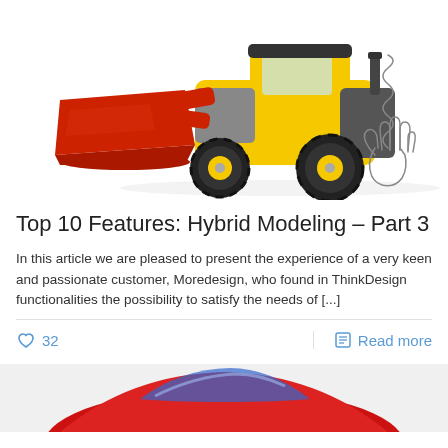[Figure (photo): Toy construction loader/front loader vehicle in red and yellow with black tires, with a hand-drawn sketch element overlaid on the right side (spring and hand outline)]
Top 10 Features: Hybrid Modeling – Part 3
In this article we are pleased to present the experience of a very keen and passionate customer, Moredesign, who found in ThinkDesign functionalities the possibility to satisfy the needs of [...]
32  Read more
[Figure (photo): Partial view of a red car model with blue accents, partially cropped at the bottom of the page]